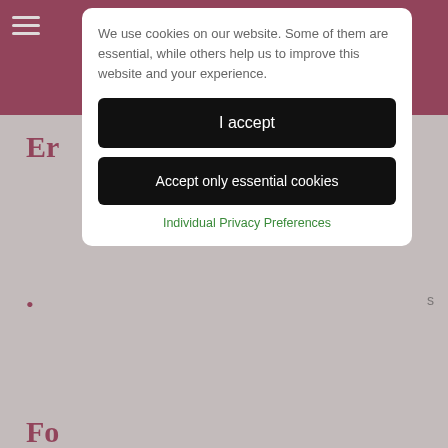We use cookies on our website. Some of them are essential, while others help us to improve this website and your experience.
I accept
Accept only essential cookies
Individual Privacy Preferences
CONTACT US
OR
CALL 01438 300 111
[Figure (logo): Google logo with five orange stars below it (Google reviews widget)]
NDITIONS